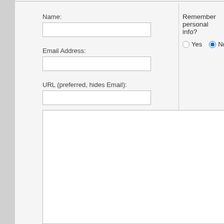Name:
Remember personal info?
Yes
No
Email Address:
URL (preferred, hides Email):
Comments: